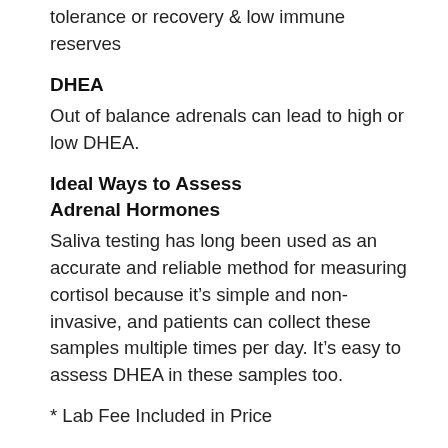tolerance or recovery & low immune reserves
DHEA
Out of balance adrenals can lead to high or low DHEA.
Ideal Ways to Assess Adrenal Hormones
Saliva testing has long been used as an accurate and reliable method for measuring cortisol because it’s simple and non-invasive, and patients can collect these samples multiple times per day. It’s easy to assess DHEA in these samples too.
* Lab Fee Included in Price